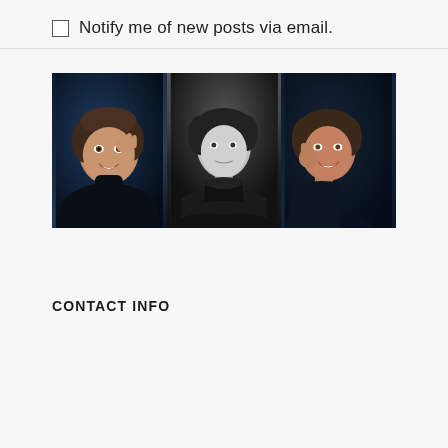Notify me of new posts via email.
[Figure (photo): Three side-by-side portrait photos of men with dark hair wearing black clothing. Left: color photo of smiling man with hand raised near head against dark blue background. Center: black and white photo of man in black turtleneck with arms crossed. Right: partially cropped photo of smiling man with hand on cheek against dark navy background.]
CONTACT INFO